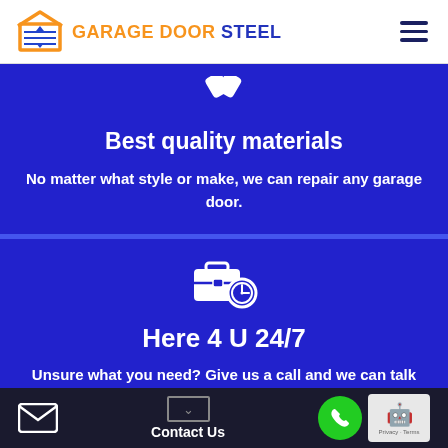[Figure (logo): Garage Door Steel logo with orange garage door icon and blue/orange text]
Best quality materials
No matter what style or make, we can repair any garage door.
[Figure (illustration): White briefcase with clock icon on blue background]
Here 4 U 24/7
Unsure what you need? Give us a call and we can talk about your issue.
Contact Us